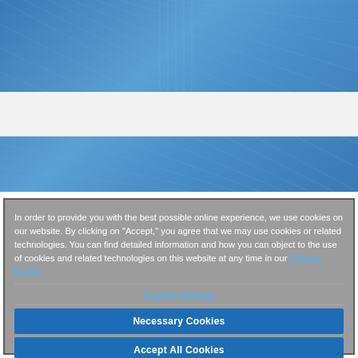[Figure (photo): Blue architectural background with diagonal lines and grid pattern]
In order to provide you with the best possible online experience, we use cookies on our website. By clicking on "Accept," you agree that we may use cookies or related technologies. You can find detailed information and how you can object to the use of cookies and related technologies on this website at any time in our Privacy Notice
Cookies Settings
Necessary Cookies
Accept All Cookies